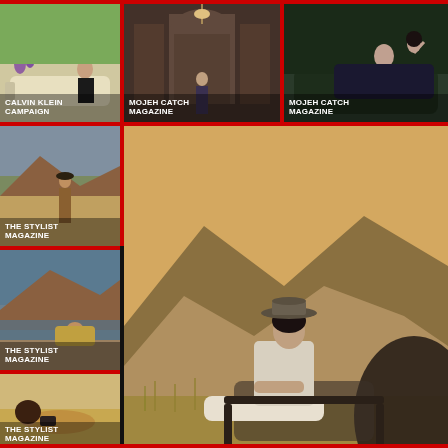[Figure (photo): Calvin Klein Campaign - woman in black outfit with sunglasses outdoors]
[Figure (photo): Mojeh Catch Magazine - woman in interior with arch]
[Figure (photo): Mojeh Catch Magazine - woman in dark outfit reclining on sofa]
[Figure (photo): The Stylist Magazine - woman in desert landscape with mountains]
[Figure (photo): The Stylist Magazine large - woman in hat reclining in chair in desert landscape with tent]
[Figure (photo): The Stylist Magazine - woman in desert near water]
[Figure (photo): The Stylist Magazine - woman lying on ground with camera]
CALVIN KLEIN CAMPAIGN
MOJEH CATCH MAGAZINE
MOJEH CATCH MAGAZINE
THE STYLIST MAGAZINE
THE STYLIST MAGAZINE
THE STYLIST MAGAZINE
THE STYLIST MAGAZINE